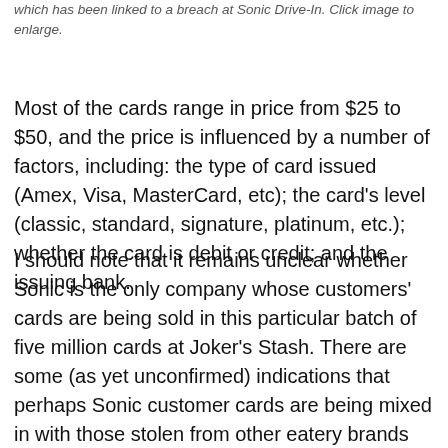which has been linked to a breach at Sonic Drive-In. Click image to enlarge.
Most of the cards range in price from $25 to $50, and the price is influenced by a number of factors, including: the type of card issued (Amex, Visa, MasterCard, etc); the card’s level (classic, standard, signature, platinum, etc.); whether the card is debit or credit; and the issuing bank.
I should note that it remains unclear whether Sonic is the only company whose customers’ cards are being sold in this particular batch of five million cards at Joker’s Stash. There are some (as yet unconfirmed) indications that perhaps Sonic customer cards are being mixed in with those stolen from other eatery brands that may be compromised by the same attackers.